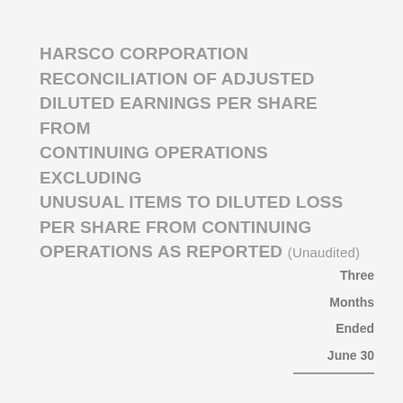HARSCO CORPORATION RECONCILIATION OF ADJUSTED DILUTED EARNINGS PER SHARE FROM CONTINUING OPERATIONS EXCLUDING UNUSUAL ITEMS TO DILUTED LOSS PER SHARE FROM CONTINUING OPERATIONS AS REPORTED (Unaudited)
| Three Months Ended June 30 |
| --- |